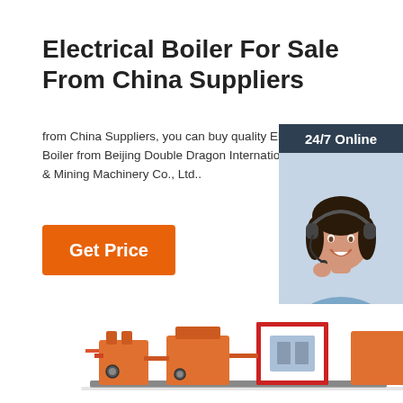Electrical Boiler For Sale From China Suppliers
from China Suppliers, you can buy quality Electrical Boiler from Beijing Double Dragon International & Mining Machinery Co., Ltd..
Get Price
[Figure (infographic): 24/7 Online customer service widget showing a woman wearing a headset, with '24/7 Online' header, 'Click here for free chat!' text, and an orange QUOTATION button on a dark navy background.]
[Figure (photo): Industrial boiler/machinery equipment shown at the bottom of the page, orange and red colored pipes and machinery components.]